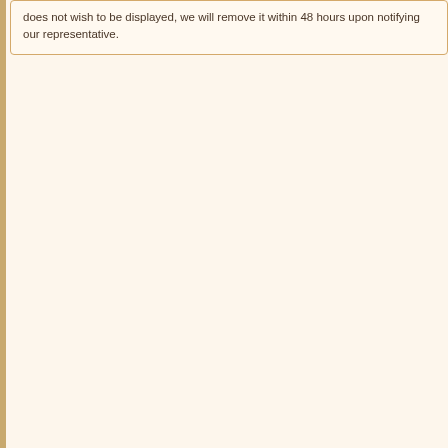does not wish to be displayed, we will remove it within 48 hours upon notifying our representative.